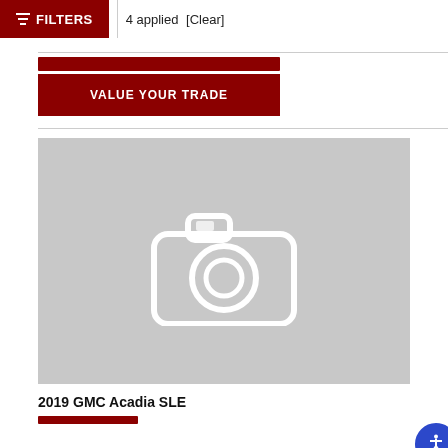FILTERS  |  4 applied  [Clear]
VALUE YOUR TRADE
[Figure (photo): Placeholder car listing image showing a camera icon on a gray background for a 2019 GMC Acadia SLE listing. An accessibility icon badge is shown in the lower right corner.]
2019 GMC Acadia SLE